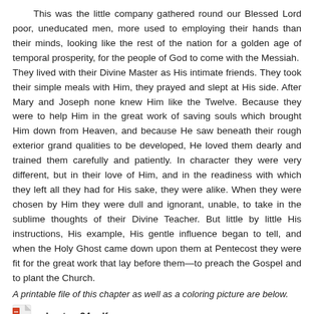This was the little company gathered round our Blessed Lord poor, uneducated men, more used to employing their hands than their minds, looking like the rest of the nation for a golden age of temporal prosperity, for the people of God to come with the Messiah. They lived with their Divine Master as His intimate friends. They took their simple meals with Him, they prayed and slept at His side. After Mary and Joseph none knew Him like the Twelve. Because they were to help Him in the great work of saving souls which brought Him down from Heaven, and because He saw beneath their rough exterior grand qualities to be developed, He loved them dearly and trained them carefully and patiently. In character they were very different, but in their love of Him, and in the readiness with which they left all they had for His sake, they were alike. When they were chosen by Him they were dull and ignorant, unable, to take in the sublime thoughts of their Divine Teacher. But little by little His instructions, His example, His gentle influence began to tell, and when the Holy Ghost came down upon them at Pentecost they were fit for the great work that lay before them—to preach the Gospel and to plant the Church.
A printable file of this chapter as well as a coloring picture are below.
chapter_24.pdf